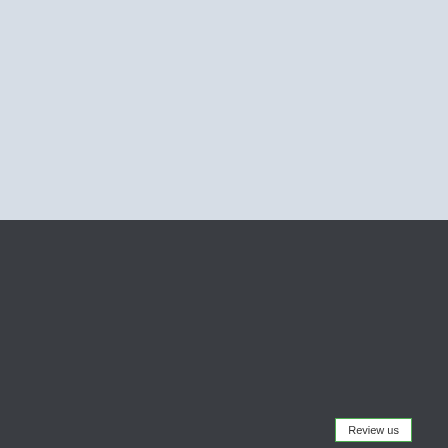[Figure (illustration): Light blue-grey background top section (empty)]
[Figure (logo): Mann And Van logo in orange italic bold text on dark background]
GET SOCIAL
[Figure (illustration): Facebook and Instagram social media icons in grey]
WE ACCEPT ALL CARD PAYMENTS
Review us